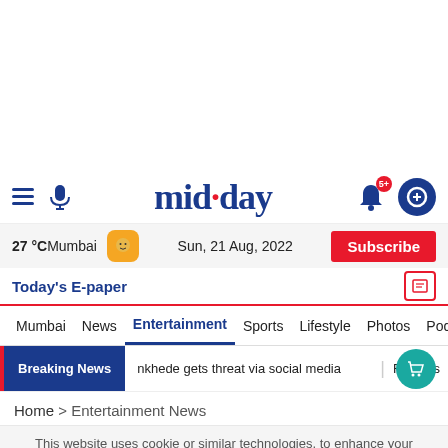mid-day — Navigation bar with hamburger, mic, logo, notification bell, book icon
27 °C Mumbai   Sun, 21 Aug, 2022   Subscribe
Today's E-paper
Mumbai   News   Entertainment   Sports   Lifestyle   Photos   Podcast   Ti...
Breaking News   nkhede gets threat via social media   Famous...s
Home > Entertainment News
This website uses cookie or similar technologies, to enhance your